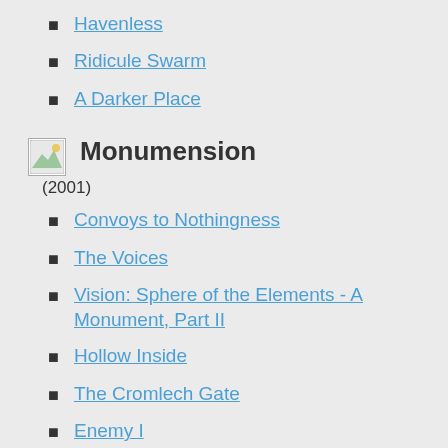Havenless
Ridicule Swarm
A Darker Place
Monumension (2001)
Convoys to Nothingness
The Voices
Vision: Sphere of the Elements - A Monument, Part II
Hollow Inside
The Cromlech Gate
Enemy I
Smirr